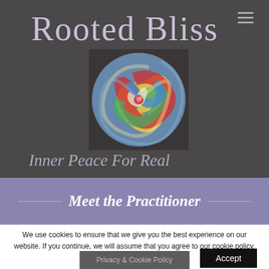Rooted Bliss
[Figure (illustration): Colorful swirling spiral painting with rainbow colors (red, yellow, blue, green) on a circular canvas, serving as the Rooted Bliss logo]
Inner Peace For Real
Meet the Practitioner
We use cookies to ensure that we give you the best experience on our website. If you continue, we will assume that you agree to our cookie policy.
Accept
Privacy & Cookie Policy